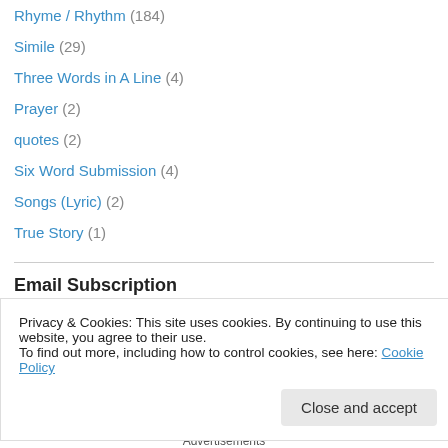Rhyme / Rhythm (184)
Simile (29)
Three Words in A Line (4)
Prayer (2)
quotes (2)
Six Word Submission (4)
Songs (Lyric) (2)
True Story (1)
Email Subscription
Enter your email address
Privacy & Cookies: This site uses cookies. By continuing to use this website, you agree to their use.
To find out more, including how to control cookies, see here: Cookie Policy
Close and accept
Advertisements